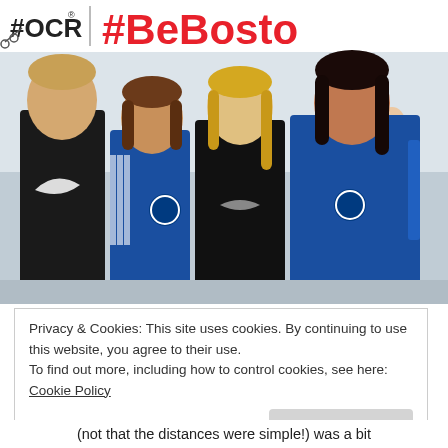[Figure (photo): Group photo of four people (one man in black shirt, two women in blue Boston Marathon jackets, one woman in black Nike jacket) standing in front of a #BeBoston banner. The man is on the left, and the three women stand beside him. Background shows the #BeBoston promotional wall with cartoon runners.]
Privacy & Cookies: This site uses cookies. By continuing to use this website, you agree to their use.
To find out more, including how to control cookies, see here: Cookie Policy
Close and accept
(not that the distances were simple!) was a bit